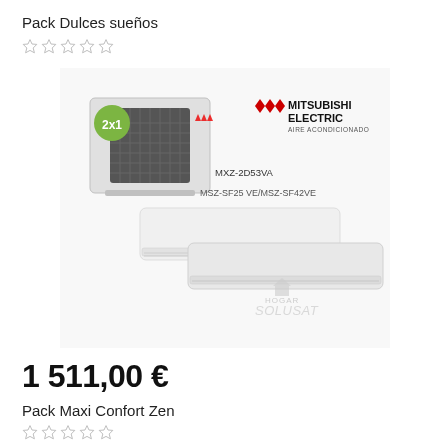Pack Dulces sueños
☆ ☆ ☆ ☆ ☆
[Figure (photo): Mitsubishi Electric air conditioning pack product image showing outdoor unit MXZ-2D53VA and two indoor units MSZ-SF25 VE/MSZ-SF42VE. Green badge shows '2x1'. Hogar Solusat watermark visible.]
1 511,00 €
Pack Maxi Confort Zen
☆ ☆ ☆ ☆ ☆